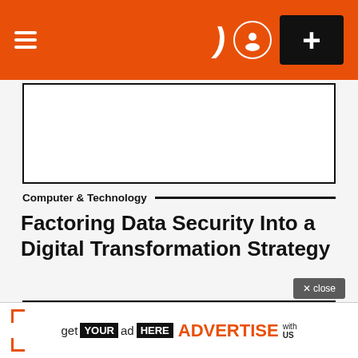Navigation bar with hamburger menu, moon/dark mode icon, user icon, and plus button
[Figure (other): Top image placeholder box (blank white bordered rectangle)]
Computer & Technology
Factoring Data Security Into a Digital Transformation Strategy
[Figure (logo): Blogs Treasure logo - orange stylized letter b and dot with text 'blogs treasure']
× close
get YOUR ad HERE ADVERTISE with US